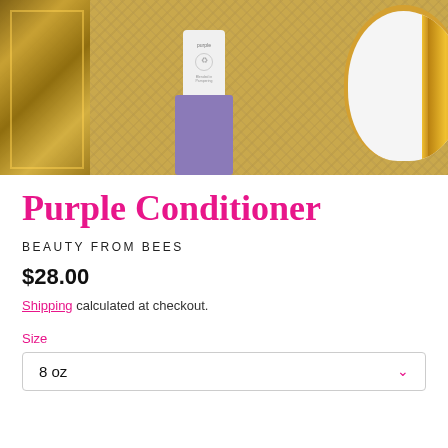[Figure (photo): Product photo showing a purple conditioner bottle with white label, gold ornate frame on the left, and a white round container with gold stripe on the right, all sitting on a gold mosaic surface.]
Purple Conditioner
BEAUTY FROM BEES
$28.00
Shipping calculated at checkout.
Size
8 oz